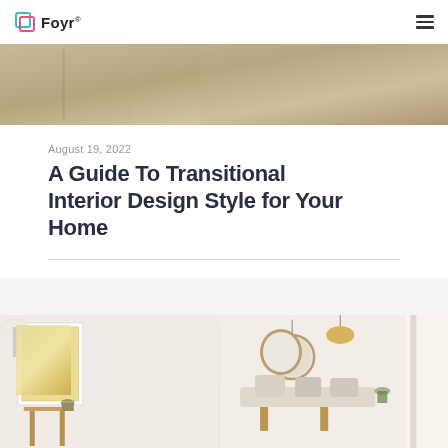Foyr®
[Figure (photo): Wide banner photo of a transitional interior room, showing warm toned flooring and furniture, cropped at top]
August 19, 2022
A Guide To Transitional Interior Design Style for Your Home
[Figure (photo): Two side-by-side interior design photos: left shows a white-walled room with gold abstract artwork above a wooden side table with plant; right shows a Scandinavian-style living room with circular mirror, rattan bench, neutral sofa with cushions, and a pendant lamp]